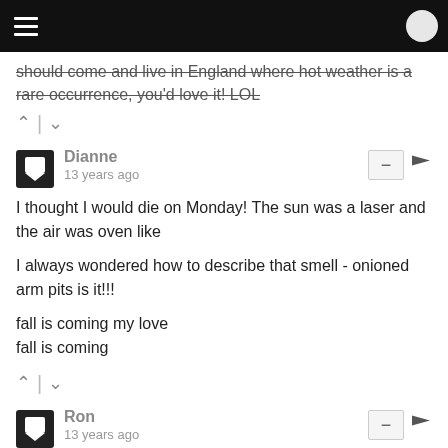should come and live in England where hot weather is a rare occurrence, you'd love it! LOL
Dianne · 13 years ago
I thought I would die on Monday! The sun was a laser and the air was oven like

I always wondered how to describe that smell - onioned arm pits is it!!!

fall is coming my love
fall is coming
Ron · 13 years ago
Aloha Debi!

No way!